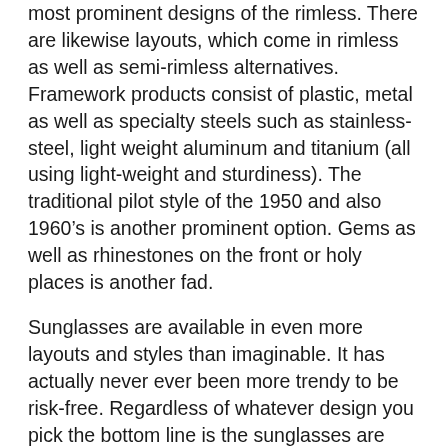most prominent designs of the rimless. There are likewise layouts, which come in rimless as well as semi-rimless alternatives. Framework products consist of plastic, metal as well as specialty steels such as stainless-steel, light weight aluminum and titanium (all using light-weight and sturdiness). The traditional pilot style of the 1950 and also 1960’s is another prominent option. Gems as well as rhinestones on the front or holy places is another fad.
Sunglasses are available in even more layouts and styles than imaginable. It has actually never ever been more trendy to be risk-free. Regardless of whatever design you pick the bottom line is the sunglasses are protecting an essential property, your eyes. Everyone is prone to sun-related eye troubles that can vary from UV light damages of the cornea as well as retina to cataracts, safeguarding your eyes is of miraculous relevance to guarantee your future eye health. Always make sure to purchase lenses with ninety 9 to one hundred percent UVA as well as UVB protection.